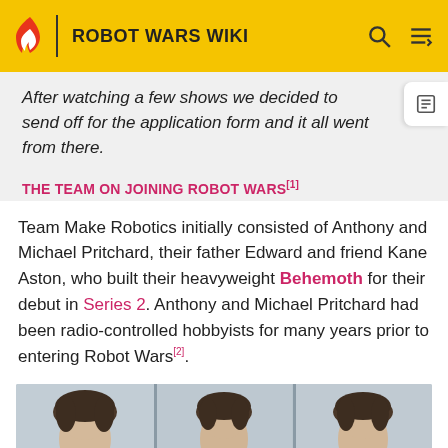ROBOT WARS WIKI
After watching a few shows we decided to send off for the application form and it all went from there.
THE TEAM ON JOINING ROBOT WARS[1]
Team Make Robotics initially consisted of Anthony and Michael Pritchard, their father Edward and friend Kane Aston, who built their heavyweight Behemoth for their debut in Series 2. Anthony and Michael Pritchard had been radio-controlled hobbyists for many years prior to entering Robot Wars[2].
[Figure (photo): Photo showing three people (members of Team Make Robotics) from the shoulders up, with brown hair, photographed against a light background with visible panel divisions.]